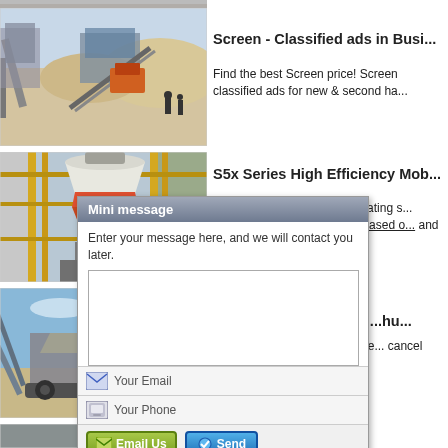[Figure (photo): Top partial photo strip of industrial mining equipment]
[Figure (photo): Photo of open-air mining screening plant with conveyor belts and workers]
[Figure (photo): Photo of large industrial cone crusher with yellow structural framework]
[Figure (photo): Photo of mobile vibrating screen plant with yellow crane arm in arid landscape]
[Figure (photo): Partial bottom photo of mining equipment]
Screen - Classified ads in Busi...
Find the best Screen price! Screen classified ads for new & second ha...
S5x Series High Efficiency Mob...
liming S5X series mobile vibrating s... specific to market demands based o... and manu... se... our comp...
Mini message
Enter your message here, and we will contact you later.
Vibratin...                        ...hu...
New sino... 3... email add... he... cancel em... y...
Your Email
Your Phone
Email Us
Send